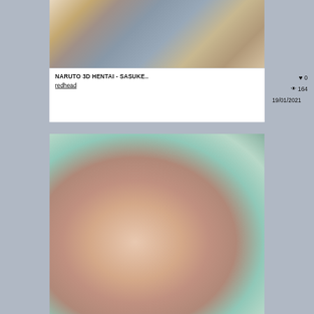[Figure (illustration): 3D animated style illustration - top thumbnail image with bluish-grey and warm tones]
NARUTO 3D HENTAI - SASUKE..
redhead
♥ 0
👁 164
19/01/2021
[Figure (illustration): 3D animated style illustration - bottom thumbnail with warm skin tones, outdoor beach/pool setting, FLUFF watermark in top right]